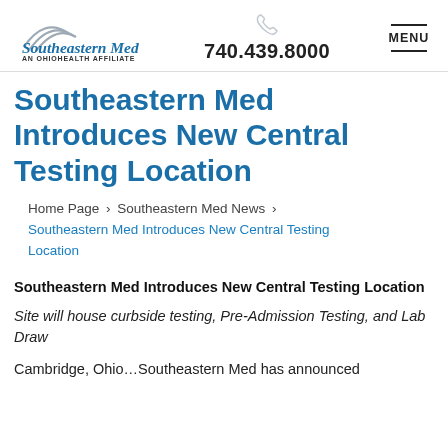[Figure (logo): Southeastern Med logo with mountain/arch graphic above text, AN OHIOHEALTH AFFILIATE subtitle]
740.439.8000
MENU
Southeastern Med Introduces New Central Testing Location
Home Page > Southeastern Med News > Southeastern Med Introduces New Central Testing Location
Southeastern Med Introduces New Central Testing Location
Site will house curbside testing, Pre-Admission Testing, and Lab Draw
Cambridge, Ohio…Southeastern Med has announced